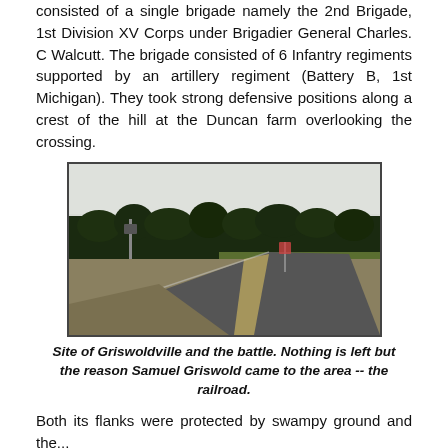consisted of a single brigade namely the 2nd Brigade, 1st Division XV Corps under Brigadier General Charles. C Walcutt. The brigade consisted of 6 Infantry regiments supported by an artillery regiment (Battery B, 1st Michigan). They took strong defensive positions along a crest of the hill at the Duncan farm overlooking the crossing.
[Figure (photo): Photograph showing the site of Griswoldville and the battle. A rural road curves through the scene with a grassy field to the right and a treeline in the background under an overcast sky.]
Site of Griswoldville and the battle. Nothing is left but the reason Samuel Griswold came to the area -- the railroad.
Both its flanks were protected by swampy ground and the...